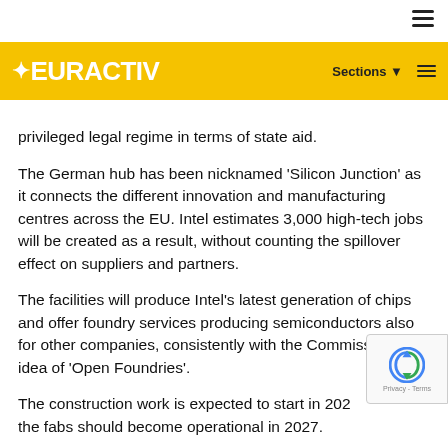EURACTIV  Sections ☰
Europe's technological status and will therefore enjoy a privileged legal regime in terms of state aid.
The German hub has been nicknamed 'Silicon Junction' as it connects the different innovation and manufacturing centres across the EU. Intel estimates 3,000 high-tech jobs will be created as a result, without counting the spillover effect on suppliers and partners.
The facilities will produce Intel's latest generation of chips and offer foundry services producing semiconductors also for other companies, consistently with the Commission's idea of 'Open Foundries'.
The construction work is expected to start in 202… the fabs should become operational in 2027.